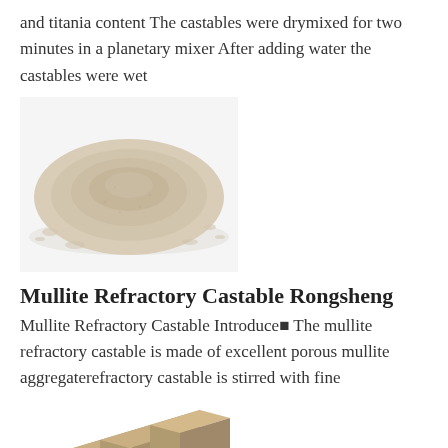and titania content The castables were drymixed for two minutes in a planetary mixer After adding water the castables were wet
[Figure (photo): Photograph of a pile of fine off-white/beige castable powder material]
Mullite Refractory Castable Rongsheng
Mullite Refractory Castable Introduce■ The mullite refractory castable is made of excellent porous mullite aggregaterefractory castable is stirred with fine
[Figure (photo): Photograph of several tan/beige rectangular refractory castable brick blocks arranged together]